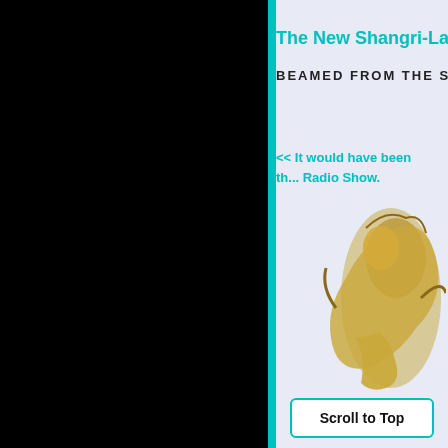[Figure (photo): Black panel on left side of page]
The New Shangri-La
BEAMED FROM THE SA
<< It would have been th... Radio Show.
[Figure (photo): Golden decorative statue/figurine partially visible in lower right panel]
Scroll to Top